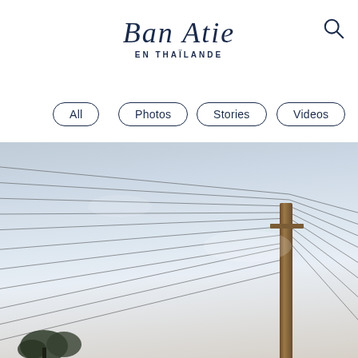Ban Atie EN THAÏLANDE
All
Photos
Stories
Videos
[Figure (photo): A photograph looking up at utility power lines converging toward a wooden electric pole on the right side, against a pale blue-grey sky with soft clouds. The pole is a dark brown wooden utility pole with multiple wires radiating outward at various angles across the frame.]